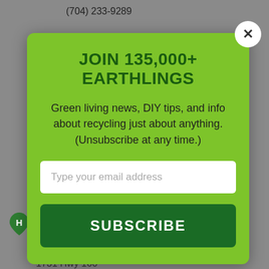(704) 233-9289
JOIN 135,000+ EARTHLINGS
Green living news, DIY tips, and info about recycling just about anything. (Unsubscribe at any time.)
Type your email address
SUBSCRIBE
York County Recycling Drop-off Program - Baxter
(803) 628-3195
1731 Hwy 160